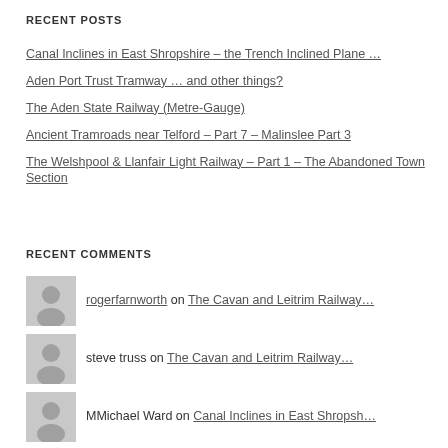RECENT POSTS
Canal Inclines in East Shropshire – the Trench Inclined Plane …
Aden Port Trust Tramway … and other things?
The Aden State Railway (Metre-Gauge)
Ancient Tramroads near Telford – Part 7 – Malinslee Part 3
The Welshpool & Llanfair Light Railway – Part 1 – The Abandoned Town Section
RECENT COMMENTS
rogerfarnworth on The Cavan and Leitrim Railway…
steve truss on The Cavan and Leitrim Railway…
MMichael Ward on Canal Inclines in East Shropsh…